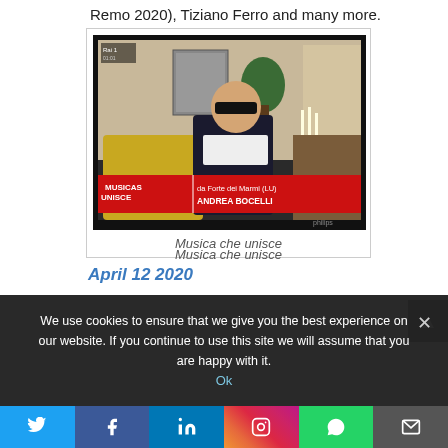Remo 2020), Tiziano Ferro and many more.
[Figure (photo): TV screen showing a person wearing sunglasses seated indoors. A lower-third banner reads 'MUSICA CHE UNISCE – da Forte dei Marmi (LU) ANDREA BOCELLI']
Musica che unisce
April 12 2020
We use cookies to ensure that we give you the best experience on our website. If you continue to use this site we will assume that you are happy with it.